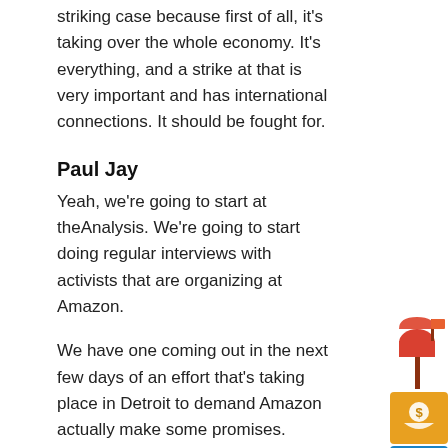striking case because first of all, it's taking over the whole economy. It's everything, and a strike at that is very important and has international connections. It should be fought for.
Paul Jay
Yeah, we're going to start at theAnalysis. We're going to start doing regular interviews with activists that are organizing at Amazon.
We have one coming out in the next few days of an effort that's taking place in Detroit to demand Amazon actually make some promises. There's a new warehouse that they're opening, both the fight from communities where warehouses opening offices and warehouses, and then obviously there's the fight to organize workers that are in Amazon
[Figure (illustration): Sidebar icons: mailbox illustration, donate/money icon (gold), link icon (blue), email envelope icon (blue), Gmail icon (red), Facebook icon (blue)]